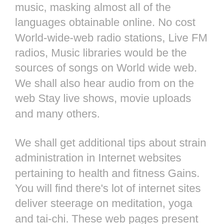music, masking almost all of the languages obtainable online. No cost World-wide-web radio stations, Live FM radios, Music libraries would be the sources of songs on World wide web. We shall also hear audio from on the web Stay live shows, movie uploads and many others.
We shall get additional tips about strain administration in Internet websites pertaining to health and fitness Gains. You will find there's lot of internet sites deliver steerage on meditation, yoga and tai-chi. These web pages present movie tutorial on People Yoga, Meditation and so forth.
On the whole Online is a fantastic supply of entertaining, enjoyment provider.